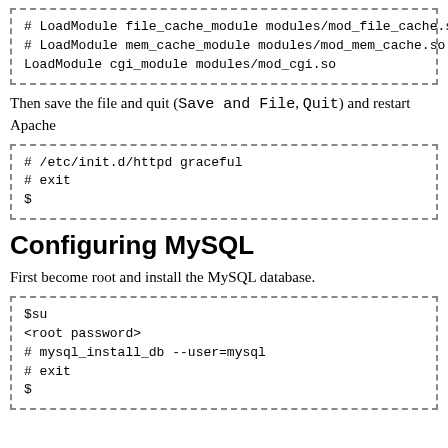# LoadModule file_cache_module modules/mod_file_cache.so
# LoadModule mem_cache_module modules/mod_mem_cache.so
LoadModule cgi_module modules/mod_cgi.so
Then save the file and quit (Save and File, Quit) and restart Apache
# /etc/init.d/httpd graceful
# exit
$
Configuring MySQL
First become root and install the MySQL database.
$su
<root password>
# mysql_install_db --user=mysql
# exit
$